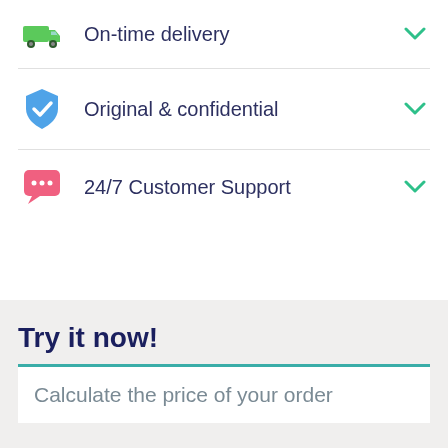On-time delivery
Original & confidential
24/7 Customer Support
Try it now!
Calculate the price of your order